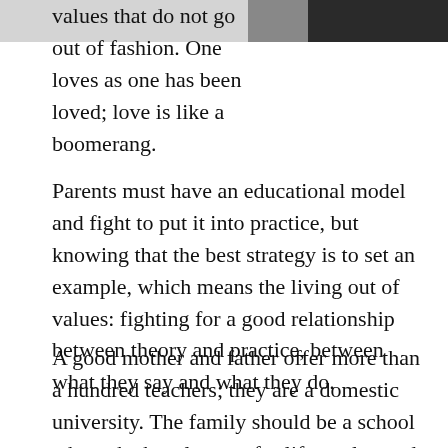[Figure (photo): Partial photo of a person in dark clothing, cropped at top of page]
values that do not go out of fashion. One loves as one has been loved; love is like a boomerang.
Parents must have an educational model and fight to put it into practice, but knowing that the best strategy is to set an example, which means the living out of values: fighting for a good relationship between theory and practice, between what they say and what they do.
A good mother and father offer more than a hundred teachers; they are a domestic university. The family should be a school where the best lessons for life are learned. And now we must apply all this to the